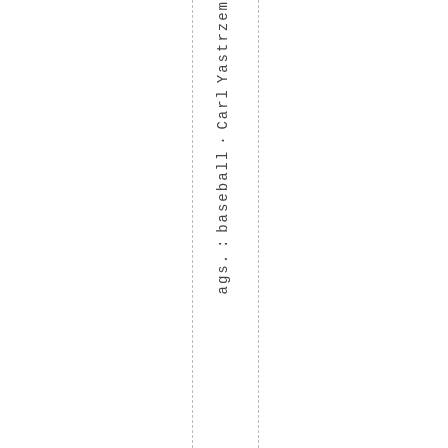ags.: baseball · Carl Yastrzemski